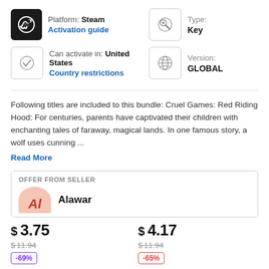Platform: Steam
Activation guide
Type:
Key
Can activate in: United States
Country restrictions
Version:
GLOBAL
Following titles are included to this bundle: Cruel Games: Red Riding Hood: For centuries, parents have captivated their children with enchanting tales of faraway, magical lands. In one famous story, a wolf uses cunning ...
Read More
OFFER FROM SELLER
Alawar
$ 3.75
$11.94
-69%
$ 4.17
$11.94
-65%
Buy with G2A Plus
Add to cart